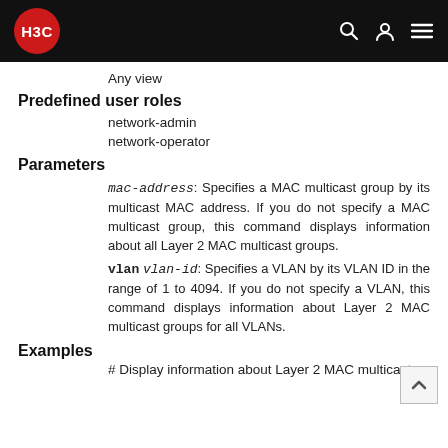H3C
Any view
Predefined user roles
network-admin
network-operator
Parameters
mac-address: Specifies a MAC multicast group by its multicast MAC address. If you do not specify a MAC multicast group, this command displays information about all Layer 2 MAC multicast groups.
vlan vlan-id: Specifies a VLAN by its VLAN ID in the range of 1 to 4094. If you do not specify a VLAN, this command displays information about Layer 2 MAC multicast groups for all VLANs.
Examples
# Display information about Layer 2 MAC multicast